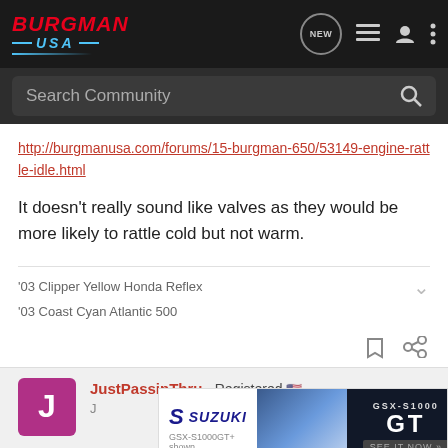BURGMAN USA — navigation header with search bar
http://burgmanusa.com/forums/15-burgman-650/53149-engine-rattle-idle.html
It doesn't really sound like valves as they would be more likely to rattle cold but not warm.
'03 Clipper Yellow Honda Reflex
'03 Coast Cyan Atlantic 500
JustPassinThru · Registered 🇺🇸